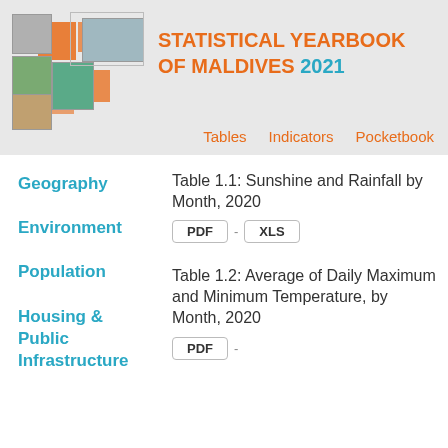[Figure (logo): Statistical Yearbook of Maldives 2021 logo with mosaic of photos and colored squares]
STATISTICAL YEARBOOK OF MALDIVES 2021
Tables   Indicators   Pocketbook
Geography
Environment
Population
Housing & Public Infrastructure
Table 1.1: Sunshine and Rainfall by Month, 2020
PDF - XLS
Table 1.2: Average of Daily Maximum and Minimum Temperature, by Month, 2020